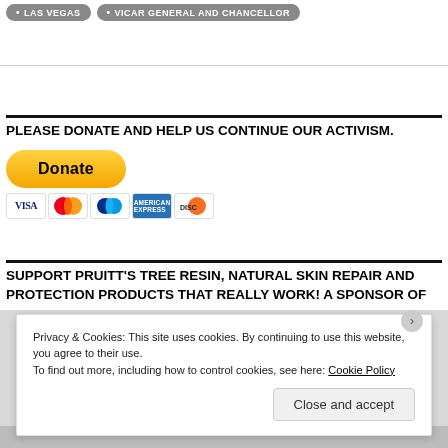LAS VEGAS  •  VICAR GENERAL AND CHANCELLOR
PLEASE DONATE AND HELP US CONTINUE OUR ACTIVISM.
[Figure (other): PayPal Donate button with credit card icons (Visa, Mastercard, PayPal, American Express, Discover)]
SUPPORT PRUITT'S TREE RESIN, NATURAL SKIN REPAIR AND PROTECTION PRODUCTS THAT REALLY WORK! A SPONSOR OF
Privacy & Cookies: This site uses cookies. By continuing to use this website, you agree to their use. To find out more, including how to control cookies, see here: Cookie Policy
Close and accept